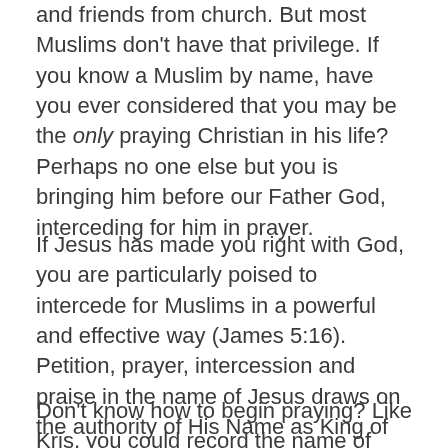and friends from church. But most Muslims don't have that privilege. If you know a Muslim by name, have you ever considered that you may be the only praying Christian in his life? Perhaps no one else but you is bringing him before our Father God, interceding for him in prayer.
If Jesus has made you right with God, you are particularly poised to intercede for Muslims in a powerful and effective way (James 5:16). Petition, prayer, intercession and praise in the name of Jesus draws on the authority of His Name as King of Kings and Lord of Lords.
Don't know how to begin praying? Like Kris, you could record the name of any Muslim you meet and begin to pray for his salvation. Or, if you meet a Muslim, you could pray with him right then and there! First ask his permission then...